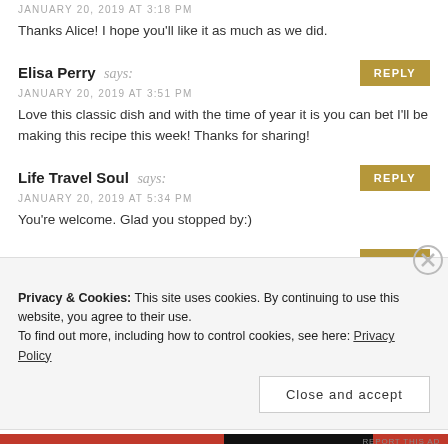JANUARY 20, 2019 AT 3:18 PM
Thanks Alice! I hope you'll like it as much as we did.
Elisa Perry says:
JANUARY 20, 2019 AT 3:51 PM
Love this classic dish and with the time of year it is you can bet I'll be making this recipe this week! Thanks for sharing!
Life Travel Soul says:
JANUARY 20, 2019 AT 5:34 PM
You're welcome. Glad you stopped by:)
Nancy says:
JANUARY 20, 2019 AT 4:35 PM
Privacy & Cookies: This site uses cookies. By continuing to use this website, you agree to their use.
To find out more, including how to control cookies, see here: Privacy Policy
Close and accept